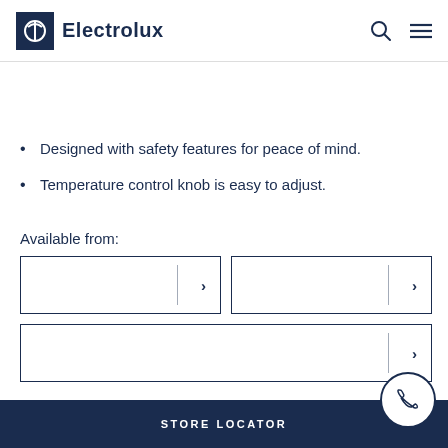[Figure (logo): Electrolux logo with dark blue square icon and brand name text]
Designed with safety features for peace of mind.
Temperature control knob is easy to adjust.
Available from:
[Figure (other): Three retailer selection buttons with right-arrow chevrons and vertical dividers]
STORE LOCATOR
[Figure (other): Circular phone/contact button]